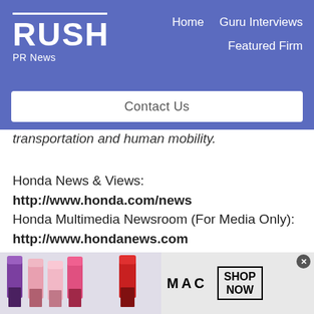RUSH PR News | Home | Guru Interviews | Featured Firm | Contact Us
transportation and human mobility.
Honda News & Views:
http://www.honda.com/news
Honda Multimedia Newsroom (For Media Only):
http://www.hondanews.com
[Figure (photo): MAC Cosmetics advertisement banner with lipsticks and 'SHOP NOW' button]